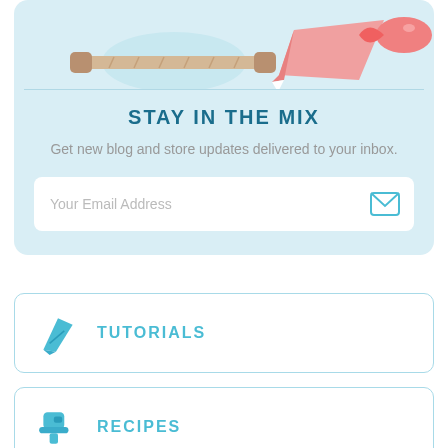[Figure (illustration): Baking illustration showing a rolling pin on a blue circular background and a pink piping bag with pink candy/fish shape]
STAY IN THE MIX
Get new blog and store updates delivered to your inbox.
[Figure (screenshot): Email address input field with placeholder text 'Your Email Address' and a blue envelope icon on the right]
TUTORIALS
RECIPES